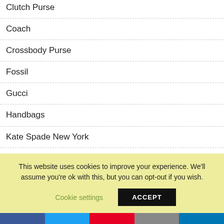Clutch Purse
Coach
Crossbody Purse
Fossil
Gucci
Handbags
Kate Spade New York
Michael Kors
This website uses cookies to improve your experience. We'll assume you're ok with this, but you can opt-out if you wish.
Cookie settings
ACCEPT